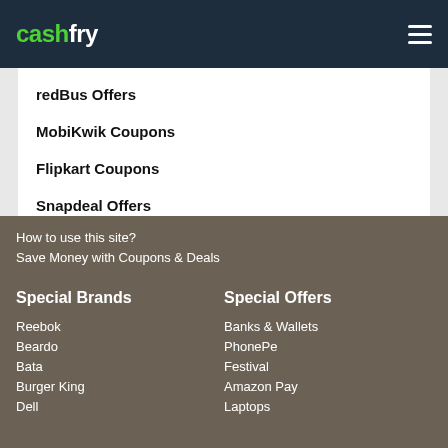cashfry
redBus Offers
MobiKwik Coupons
Flipkart Coupons
Snapdeal Offers
How to use this site?
Save Money with Coupons & Deals
Special Brands
Special Offers
Reebok
Beardo
Bata
Burger King
Dell
Banks & Wallets
PhonePe
Festival
Amazon Pay
Laptops